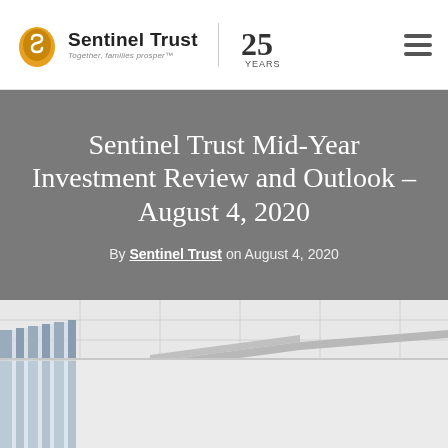Sentinel Trust | Together, families prosper™ | 25 Years
Sentinel Trust Mid-Year Investment Review and Outlook – August 4, 2020
By Sentinel Trust on August 4, 2020
[Figure (photo): Interior office photo showing floor-to-ceiling glass windows and white ceiling panels with modern office architecture]